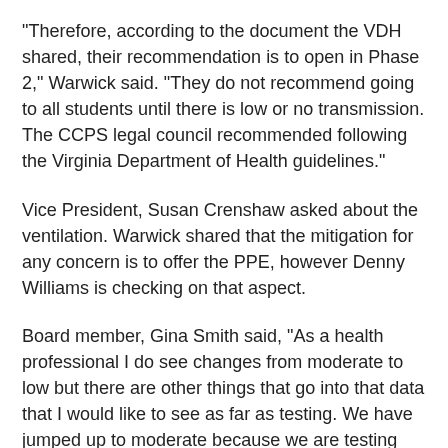“Therefore, according to the document the VDH shared, their recommendation is to open in Phase 2,” Warwick said. “They do not recommend going to all students until there is low or no transmission. The CCPS legal council recommended following the Virginia Department of Health guidelines.”
Vice President, Susan Crenshaw asked about the ventilation. Warwick shared that the mitigation for any concern is to offer the PPE, however Denny Williams is checking on that aspect.
Board member, Gina Smith said, “As a health professional I do see changes from moderate to low but there are other things that go into that data that I would like to see as far as testing. We have jumped up to moderate because we are testing more than we did back in previous months. So, did that affect the current numbers?”